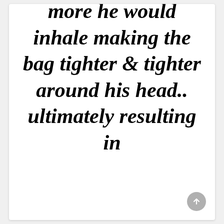more he would inhale making the bag tighter & tighter around his head.. ultimately resulting in